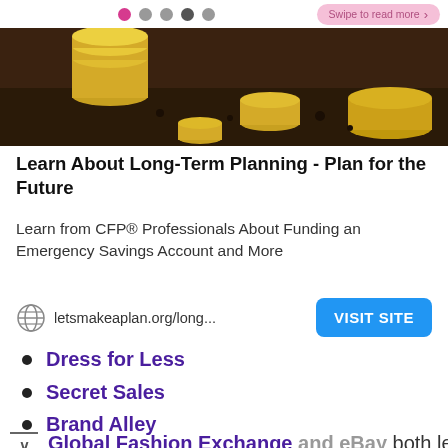Swipe to read more
[Figure (photo): Gold coins stacked on dark soil — financial planning image]
Learn About Long-Term Planning - Plan for the Future
Learn from CFP® Professionals About Funding an Emergency Savings Account and More
letsmakeaplan.org/long...
Dress for Less
Secret Sales
Brand Alley
Global Fashion Exchange and eBay both let you